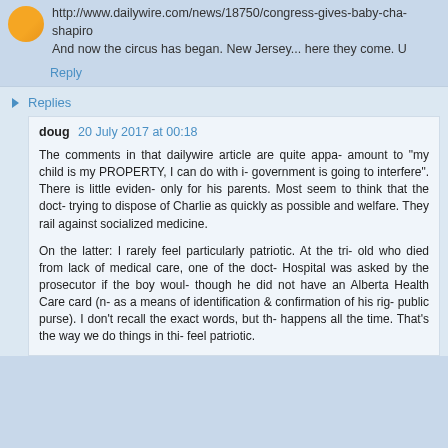http://www.dailywire.com/news/18750/congress-gives-baby-cha... shapiro
And now the circus has began. New Jersey... here they come. U
Reply
Replies
doug 20 July 2017 at 00:18
The comments in that dailywire article are quite appa... amount to "my child is my PROPERTY, I can do with i... government is going to interfere". There is little eviden... only for his parents. Most seem to think that the doct... trying to dispose of Charlie as quickly as possible and ... welfare. They rail against socialized medicine.
On the latter: I rarely feel particularly patriotic. At the tri... old who died from lack of medical care, one of the doct... Hospital was asked by the prosecutor if the boy woul... though he did not have an Alberta Health Care card (n... as a means of identification & confirmation of his rig... public purse). I don't recall the exact words, but th... happens all the time. That's the way we do things in thi... feel patriotic.